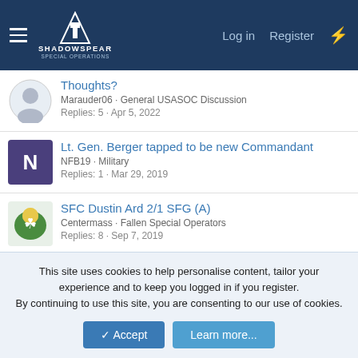ShadowSpear Special Operations — Log in | Register
Thoughts? — Marauder06 · General USASOC Discussion — Replies: 5 · Apr 5, 2022
Lt. Gen. Berger tapped to be new Commandant — NFB19 · Military — Replies: 1 · Mar 29, 2019
SFC Dustin Ard 2/1 SFG (A) — Centermass · Fallen Special Operators — Replies: 8 · Sep 7, 2019
Army Ranger Sergeant Cameron A. Meddock 2/75 — Centermass · Fallen Special Operators — Replies: 13 · Jan 21, 2019
This site uses cookies to help personalise content, tailor your experience and to keep you logged in if you register. By continuing to use this site, you are consenting to our use of cookies.